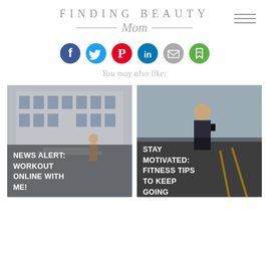[Figure (logo): Finding Beauty Mom blog logo with serif uppercase title, decorative rules, and cursive 'Mom' script]
[Figure (infographic): Six social sharing icon circles: Facebook (blue), Twitter (blue), Pinterest (red), LinkedIn (blue), Email (grey), and a green save/bookmark icon]
You may also like:
[Figure (photo): Woman posing in front of a classical building, wearing workout clothes and a cap. Overlay text: NEWS ALERT: WORKOUT ONLINE WITH ME!]
[Figure (photo): Woman in gym taking a mirror selfie while jogging. Overlay text: STAY MOTIVATED: FITNESS TIPS TO KEEP GOING]